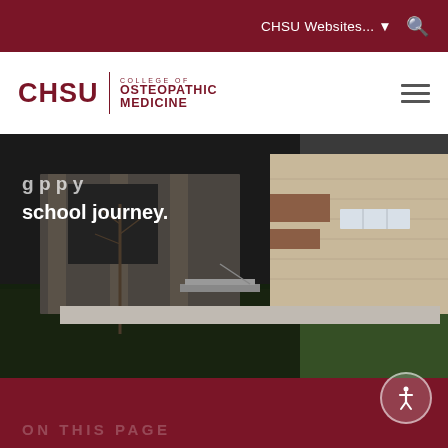CHSU Websites... ▾ 🔍
[Figure (logo): CHSU College of Osteopathic Medicine logo with maroon text and vertical divider]
[Figure (photo): Exterior photo of CHSU campus building — brick and limestone facade, green lawn in foreground, with overlay text about school journey]
school journey.
ON THIS PAGE